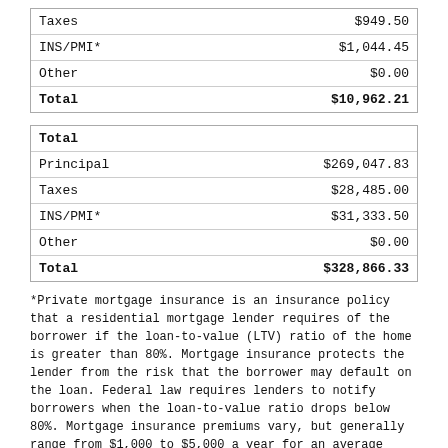|  |  |
| --- | --- |
| Taxes | $949.50 |
| INS/PMI* | $1,044.45 |
| Other | $0.00 |
| Total | $10,962.21 |
| Total |  |
| --- | --- |
| Principal | $269,047.83 |
| Taxes | $28,485.00 |
| INS/PMI* | $31,333.50 |
| Other | $0.00 |
| Total | $328,866.33 |
*Private mortgage insurance is an insurance policy that a residential mortgage lender requires of the borrower if the loan-to-value (LTV) ratio of the home is greater than 80%. Mortgage insurance protects the lender from the risk that the borrower may default on the loan. Federal law requires lenders to notify borrowers when the loan-to-value ratio drops below 80%. Mortgage insurance premiums vary, but generally range from $1,000 to $5,000 a year for an average priced home.
Results received from this calculator are designed for comparative